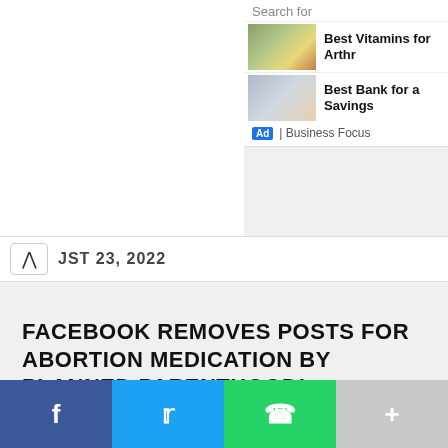Search for
Best Vitamins for Arthr
Best Bank for a Savings
Ad | Business Focus
JST 23, 2022
FACEBOOK REMOVES POSTS FOR ABORTION MEDICATION BY PLANNED PARENTHOOD!
AUGUST 23, 2022